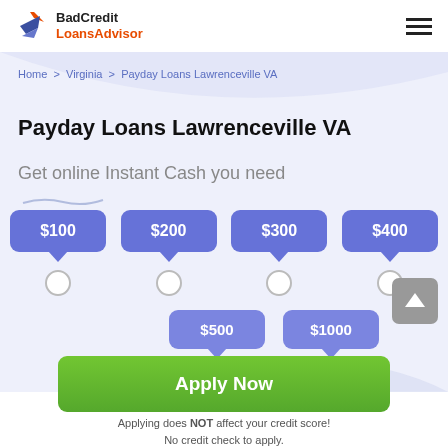BadCredit LoansAdvisor
Home > Virginia > Payday Loans Lawrenceville VA
Payday Loans Lawrenceville VA
Get online Instant Cash you need
[Figure (infographic): Six loan amount selection buttons: $100, $200, $300, $400, $500, $1000, each with a radio button below]
[Figure (infographic): Green Apply Now button]
Applying does NOT affect your credit score!
No credit check to apply.